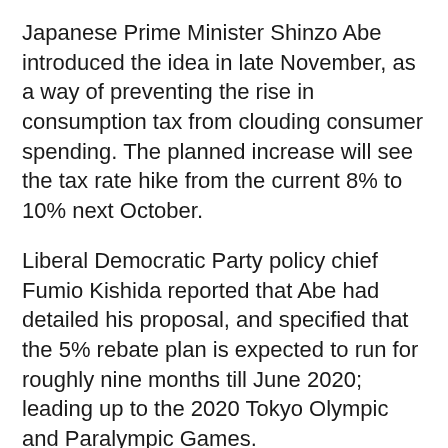Japanese Prime Minister Shinzo Abe introduced the idea in late November, as a way of preventing the rise in consumption tax from clouding consumer spending. The planned increase will see the tax rate hike from the current 8% to 10% next October.
Liberal Democratic Party policy chief Fumio Kishida reported that Abe had detailed his proposal, and specified that the 5% rebate plan is expected to run for roughly nine months till June 2020; leading up to the 2020 Tokyo Olympic and Paralympic Games.
According to official sources, the refund will be distributed in the form of points rather than cash, and will apply to payments made specifically through cred cards and other cashless transactions, as the government looks towards endorsing the cashless craze which the Japanese society has so far been reluctant to address. The rebate system will not be applicable to transactions made in large department stores, big...